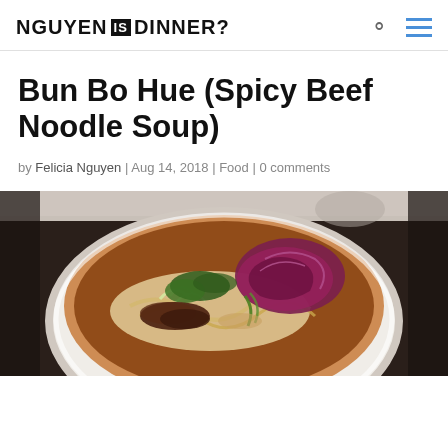NGUYEN IS DINNER?
Bun Bo Hue (Spicy Beef Noodle Soup)
by Felicia Nguyen | Aug 14, 2018 | Food | 0 comments
[Figure (photo): Overhead close-up photo of a bowl of Bun Bo Hue (spicy beef noodle soup) topped with purple/red cabbage, bean sprouts, green herbs, and sliced beef, set on a marble surface.]